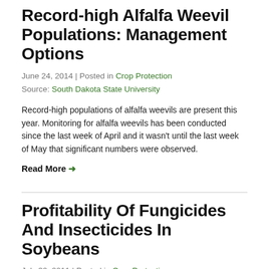Record-high Alfalfa Weevil Populations: Management Options
June 24, 2014 | Posted in Crop Protection
Source: South Dakota State University
Record-high populations of alfalfa weevils are present this year. Monitoring for alfalfa weevils has been conducted since the last week of April and it wasn't until the last week of May that significant numbers were observed.
Read More →
Profitability Of Fungicides And Insecticides In Soybeans
July 30, 2011 | Posted in Crop Protection
Source: Ryan Henry, Kiersten Wise, Bill Johnson, and Christian Krupke, Purdue University
Producers are routinely encouraged to add insurance treatments to f...